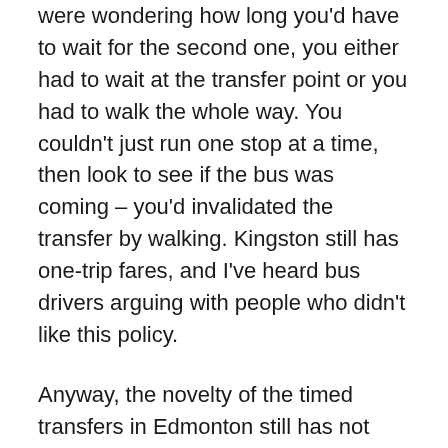were wondering how long you'd have to wait for the second one, you either had to wait at the transfer point or you had to walk the whole way. You couldn't just run one stop at a time, then look to see if the bus was coming – you'd invalidated the transfer by walking. Kingston still has one-trip fares, and I've heard bus drivers arguing with people who didn't like this policy.
Anyway, the novelty of the timed transfers in Edmonton still has not expired for me. It's not against the rules to get on the bus after work, make two or three stops to shop on the way home, and keep using the same transfer every time I get back on the bus in any direction. I don't know why the price of a bus ticket would feel like such a deterrent to me, but it makes a huge difference. I always feel like I got away with something or should celebrate being frugal, when I get more than one destination on a